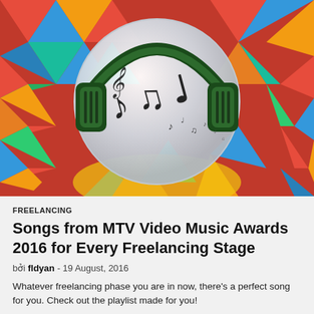[Figure (illustration): Colorful geometric triangular mosaic background in red, blue, teal, orange and yellow. In the center is a large white/silver sphere with green over-ear headphones. Inside the sphere are stylized music note characters in black script, appearing to dance or float. The overall image represents music and freelancing.]
FREELANCING
Songs from MTV Video Music Awards 2016 for Every Freelancing Stage
bởi fldyan - 19 August, 2016
Whatever freelancing phase you are in now, there's a perfect song for you. Check out the playlist made for you!